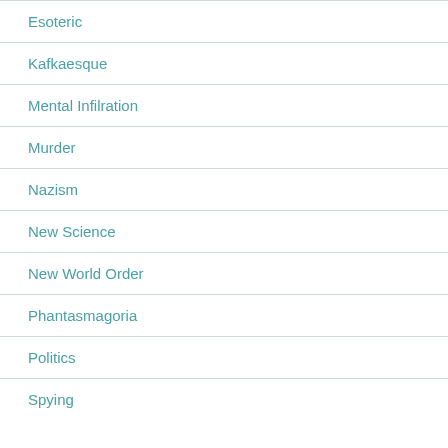Esoteric
Kafkaesque
Mental Infilration
Murder
Nazism
New Science
New World Order
Phantasmagoria
Politics
Spying